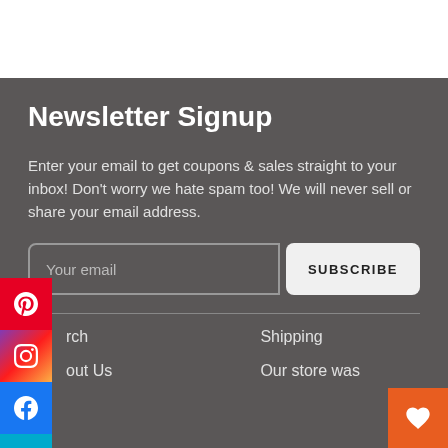Newsletter Signup
Enter your email to get coupons & sales straight to your inbox! Don't worry we hate spam too! We will never sell or share your email address.
Your email | SUBSCRIBE
rch
Shipping
out Us
Our store was FEATURED I...
[Figure (illustration): Social media sidebar buttons: Pinterest (red), Instagram (gradient), Facebook (blue), Email (cyan). Wishlist heart button (orange) at bottom right.]